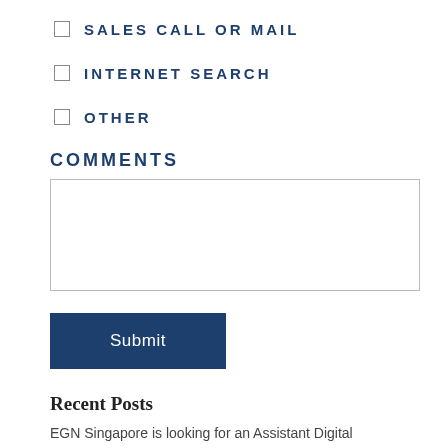SALES CALL OR MAIL
INTERNET SEARCH
OTHER
COMMENTS
[comments text area]
Submit
Recent Posts
EGN Singapore is looking for an Assistant Digital Marketing Manager – is that you?